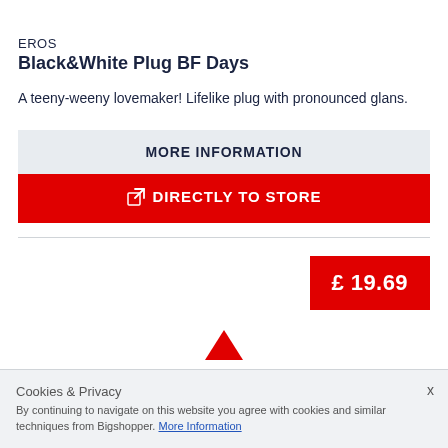EROS
Black&White Plug BF Days
A teeny-weeny lovemaker! Lifelike plug with pronounced glans.
MORE INFORMATION
DIRECTLY TO STORE
£ 19.69
Cookies & Privacy
By continuing to navigate on this website you agree with cookies and similar techniques from Bigshopper. More Information